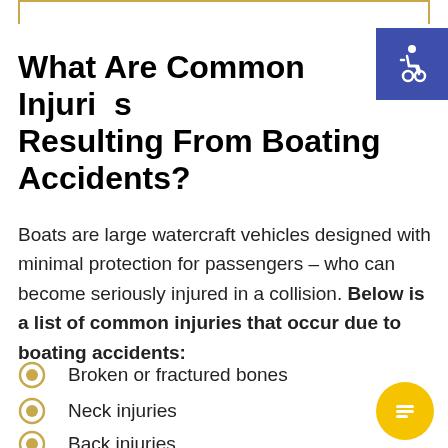What Are Common Injuries Resulting From Boating Accidents?
Boats are large watercraft vehicles designed with minimal protection for passengers – who can become seriously injured in a collision. Below is a list of common injuries that occur due to boating accidents:
Broken or fractured bones
Neck injuries
Back injuries